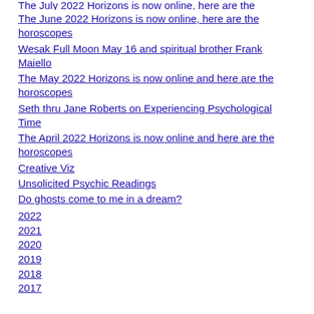The July 2022 Horizons is now online, here are the horoscopes
The June 2022 Horizons is now online, here are the horoscopes
Wesak Full Moon May 16 and spiritual brother Frank Maiello
The May 2022 Horizons is now online and here are the horoscopes
Seth thru Jane Roberts on Experiencing Psychological Time
The April 2022 Horizons is now online and here are the horoscopes
Creative Viz
Unsolicited Psychic Readings
Do ghosts come to me in a dream?
2022
2021
2020
2019
2018
2017